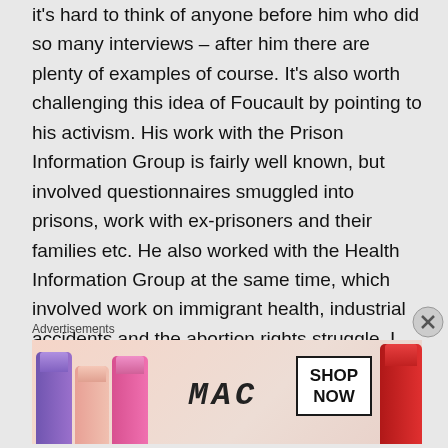it's hard to think of anyone before him who did so many interviews – after him there are plenty of examples of course. It's also worth challenging this idea of Foucault by pointing to his activism. His work with the Prison Information Group is fairly well known, but involved questionnaires smuggled into prisons, work with ex-prisoners and their families etc. He also worked with the Health Information Group at the same time, which involved work on immigrant health, industrial accidents and the abortion rights struggle. I discuss both groups in detail in Foucault: The Birth of
Advertisements
[Figure (photo): MAC cosmetics advertisement showing colorful lipsticks on the left, MAC brand logo in the center, a 'SHOP NOW' button box, and a red lipstick on the right, on a peach/pink background.]